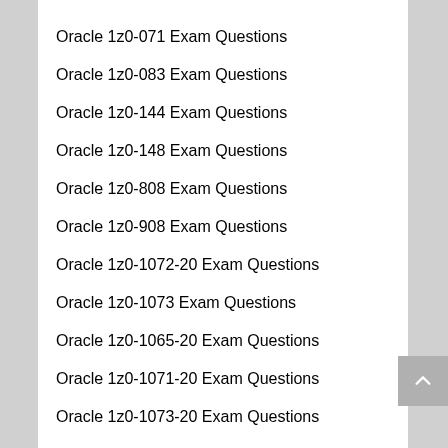Oracle 1z0-071 Exam Questions
Oracle 1z0-083 Exam Questions
Oracle 1z0-144 Exam Questions
Oracle 1z0-148 Exam Questions
Oracle 1z0-808 Exam Questions
Oracle 1z0-908 Exam Questions
Oracle 1z0-1072-20 Exam Questions
Oracle 1z0-1073 Exam Questions
Oracle 1z0-1065-20 Exam Questions
Oracle 1z0-1071-20 Exam Questions
Oracle 1z0-1073-20 Exam Questions
Oracle 1z0-1081-20 Exam Questions